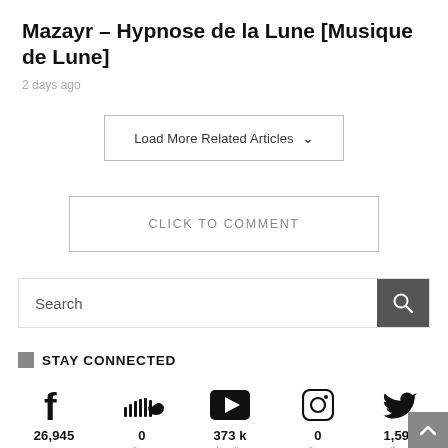Mazayr – Hypnose de la Lune [Musique de Lune]
2 days ago
Load More Related Articles ∨
CLICK TO COMMENT
Search
STAY CONNECTED
26,945
Facebook
0
Followers
373 k
Subscribers
0
Followers
1,596
Followers